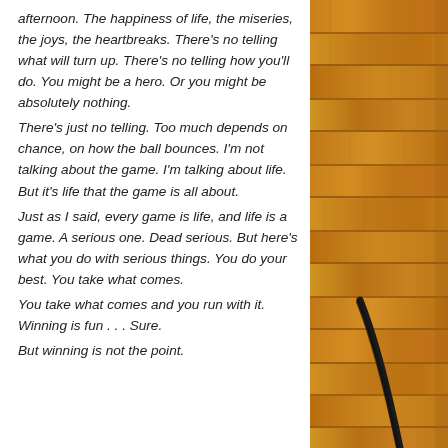afternoon. The happiness of life, the miseries, the joys, the heartbreaks. There's no telling what will turn up. There's no telling how you'll do. You might be a hero. Or you might be absolutely nothing.
There's just no telling. Too much depends on chance, on how the ball bounces. I'm not talking about the game. I'm talking about life. But it's life that the game is all about.
Just as I said, every game is life, and life is a game. A serious one. Dead serious. But here's what you do with serious things. You do your best. You take what comes.
You take what comes and you run with it. Winning is fun . . . Sure.
But winning is not the point.
[Figure (photo): A basketball court floor with wooden boards and a black court line, photographed from above at an angle. The floor is orange-brown with visible wood grain.]